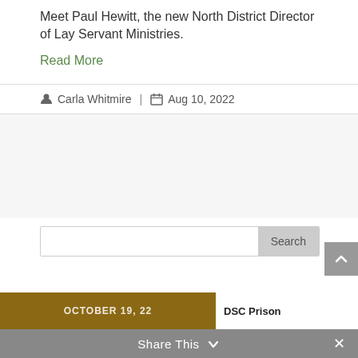Meet Paul Hewitt, the new North District Director of Lay Servant Ministries.
Read More
Carla Whitmire  |  Aug 10, 2022
[Figure (screenshot): Search bar with text input and Search button]
Recent News
Share This
[Figure (photo): News thumbnail: dark gold/brown image with OCTOBER 19, 22 text and DSC Prison text]